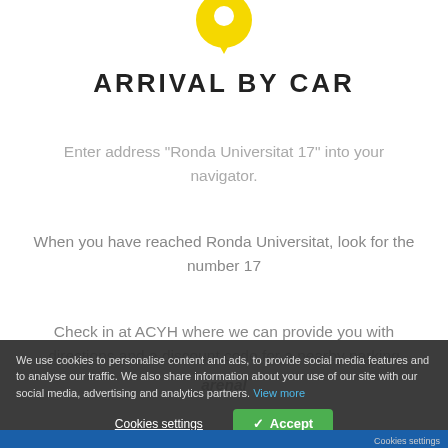[Figure (logo): Yellow map pin / location marker icon at the top center of the page]
ARRIVAL BY CAR
Enter address “Ronda Universitat 17” into your navigator.
When you have reached Ronda Universitat, look for the number 17
Check in at ACYH where we can provide you with directions and a discount code for a nearby parking arenal
We use cookies to personalise content and ads, to provide social media features and to analyse our traffic. We also share information about your use of our site with our social media, advertising and analytics partners. View more
Cookies settings